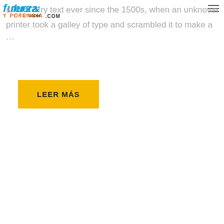fuerza y potencia .com [hamburger menu]
standard dummy text ever since the 1500s, when an unknown printer took a galley of type and scrambled it to make a …
LEER MÁS